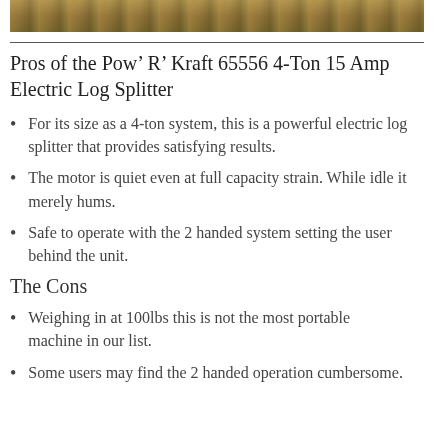[Figure (photo): Partial photo strip of outdoor scene with green and brown tones]
Pros of the Pow’ R’ Kraft 65556 4-Ton 15 Amp Electric Log Splitter
For its size as a 4-ton system, this is a powerful electric log splitter that provides satisfying results.
The motor is quiet even at full capacity strain. While idle it merely hums.
Safe to operate with the 2 handed system setting the user behind the unit.
The Cons
Weighing in at 100lbs this is not the most portable machine in our list.
Some users may find the 2 handed operation cumbersome.